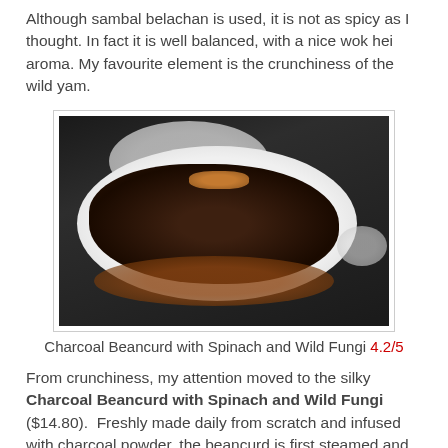Although sambal belachan is used, it is not as spicy as I thought. In fact it is well balanced, with a nice wok hei aroma. My favourite element is the crunchiness of the wild yam.
[Figure (photo): A plate of Charcoal Beancurd with Spinach and Wild Fungi served on a white oval plate with dark brown sauce, garnished with crispy toppings, on a dark table with other dishes in background.]
Charcoal Beancurd with Spinach and Wild Fungi 4.2/5
From crunchiness, my attention moved to the silky Charcoal Beancurd with Spinach and Wild Fungi ($14.80).  Freshly made daily from scratch and infused with charcoal powder, the beancurd is first steamed and then deep fried. A light broth consisting of oyster sauce, dried scallop and wild mushrooms is drizzled over the beancurd, giving it a coat of